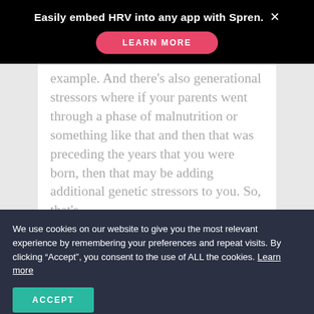Easily embed HRV into any app with Spren.
LEARN MORE
example. And there’s also generational stressors where if your parents went through a phase of malnutrition or something like that and then that was preceding the years that you were born, then that may be adding additional genetic stressors to you. So, that’s
We use cookies on our website to give you the most relevant experience by remembering your preferences and repeat visits. By clicking “Accept”, you consent to the use of ALL the cookies. Learn more
ACCEPT